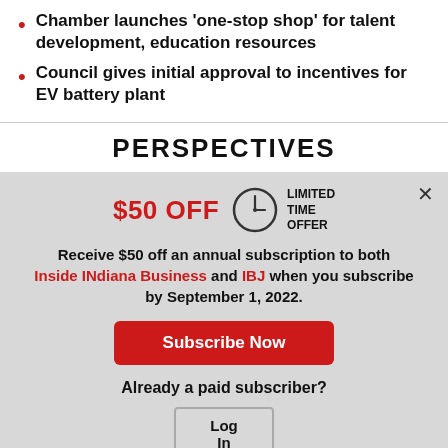Chamber launches 'one-stop shop' for talent development, education resources
Council gives initial approval to incentives for EV battery plant
PERSPECTIVES
[Figure (infographic): Subscription promotional modal: $50 OFF with a clock icon and LIMITED TIME OFFER label. Text reads: Receive $50 off an annual subscription to both Inside INdiana Business and IBJ when you subscribe by September 1, 2022. Subscribe Now button and Log In button shown.]